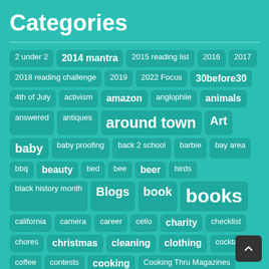Categories
[Figure (infographic): Tag cloud of blog categories on a teal background. Tags include: 2 under 2, 2014 mantra, 2015 reading list, 2016, 2017, 2018 reading challenge, 2019, 2022 Focus, 30before30, 4th of July, activism, amazon, anglophile, animals, answered, antiques, around town, Art, baby, baby proofing, back 2 school, barbie, bay area, bbq, beauty, bed, bee, beer, birds, black history month, Blogs, book, books, california, camera, career, cello, charity, checklist, chores, christmas, cleaning, clothing, cocktail, coffee, contests, cooking, Cooking Thru Magazines, crafts, dad life, DailyCandy, dance, davis, day trip, deals, design, dessert, Dig..., DIY, dresses, drinks, Earth Day, easter, ebay, eco-fri...]